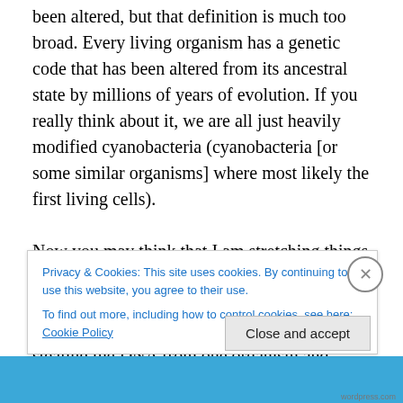been altered, but that definition is much too broad. Every living organism has a genetic code that has been altered from its ancestral state by millions of years of evolution. If you really think about it, we are all just heavily modified cyanobacteria (cyanobacteria [or some similar organisms] where most likely the first living cells).

Now you may think that I am stretching things a bit here, and perhaps I am, but “nature” does all sorts of crazy things like hybridizing species (as plants do frequently) and even stealing the DNA from one organism and inserting it into the genetic code of another. For example,
Privacy & Cookies: This site uses cookies. By continuing to use this website, you agree to their use.
To find out more, including how to control cookies, see here: Cookie Policy
Close and accept